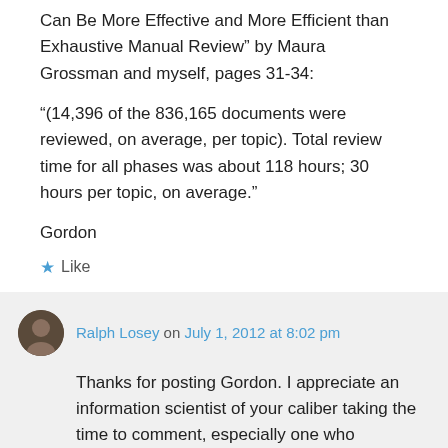Can Be More Effective and More Efficient than Exhaustive Manual Review” by Maura Grossman and myself, pages 31-34:
“(14,396 of the 836,165 documents were reviewed, on average, per topic). Total review time for all phases was about 118 hours; 30 hours per topic, on average.”
Gordon
★ Like
Ralph Losey on July 1, 2012 at 8:02 pm
Thanks for posting Gordon. I appreciate an information scientist of your caliber taking the time to comment, especially one who